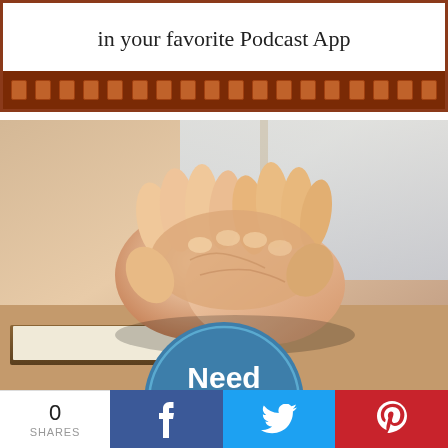in your favorite Podcast App
[Figure (photo): Clasped praying hands resting on a book, with a circular teal badge overlay reading 'Need Prayer']
0 SHARES | Facebook | Twitter | Pinterest